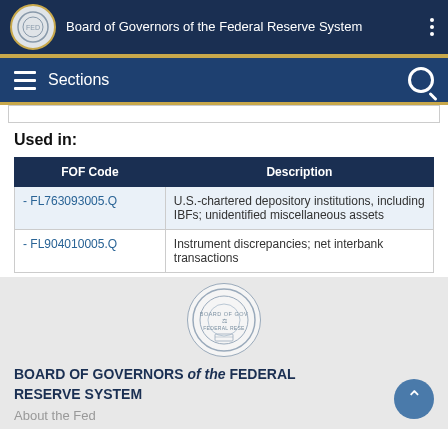Board of Governors of the Federal Reserve System
Sections
Used in:
| FOF Code | Description |
| --- | --- |
| - FL763093005.Q | U.S.-chartered depository institutions, including IBFs; unidentified miscellaneous assets |
| - FL904010005.Q | Instrument discrepancies; net interbank transactions |
[Figure (logo): Federal Reserve seal / logo in circular form]
BOARD OF GOVERNORS of the FEDERAL RESERVE SYSTEM
About the Fed